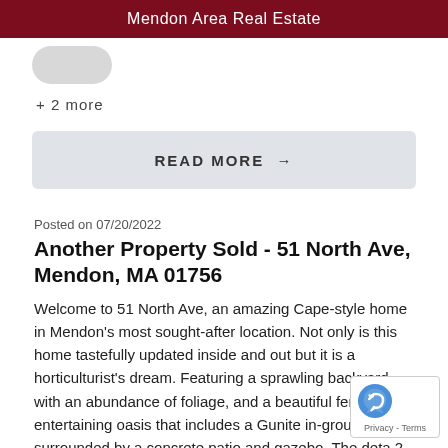Mendon Area Real Estate
+ 2 more
READ MORE →
Posted on 07/20/2022
Another Property Sold - 51 North Ave, Mendon, MA 01756
Welcome to 51 North Ave, an amazing Cape-style home in Mendon's most sought-after location. Not only is this home tastefully updated inside and out but it is a horticulturist's dream. Featuring a sprawling backyard with an abundance of foliage, and a beautiful fenced-in entertaining oasis that includes a Gunite in-ground po... surrounded by a concrete patio and gazebo. The deta... 2-car garage and paved driveway offer plenty of room for